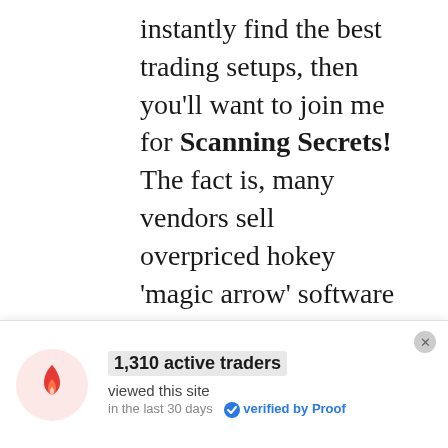instantly find the best trading setups, then you'll want to join me for Scanning Secrets! The fact is, many vendors sell overpriced hokey 'magic arrow' software or other costly, wasteful indicators that simply don't work consistently. Sound familiar?

As one of the
[Figure (infographic): Notification bar with flame icon (red flame on pink circle background), bold text '1,310 active traders', subtext 'viewed this site', smaller text 'in the last 30 days  verified by Proof' with blue checkmark, and a close (x) button in top right corner.]